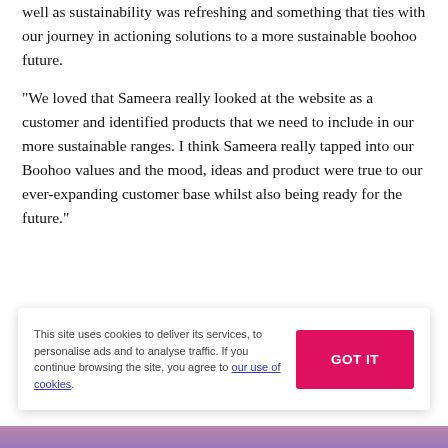well as sustainability was refreshing and something that ties with our journey in actioning solutions to a more sustainable boohoo future.
“We loved that Sameera really looked at the website as a customer and identified products that we need to include in our more sustainable ranges. I think Sameera really tapped into our Boohoo values and the mood, ideas and product were true to our ever-expanding customer base whilst also being ready for the future.”
[Figure (photo): Photo section with warm brownish-tan gradient background, partially visible at the bottom of the page, with a cookie consent banner overlaid on it.]